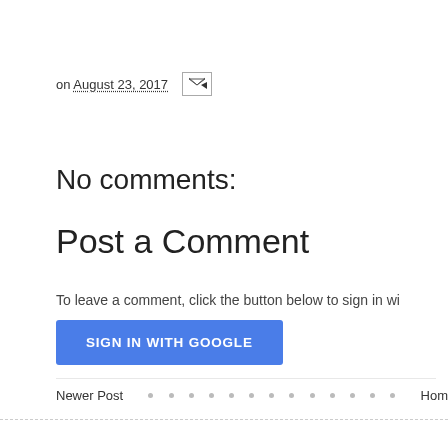on August 23, 2017
No comments:
Post a Comment
To leave a comment, click the button below to sign in wi
SIGN IN WITH GOOGLE
Newer Post · · · · · · · · · · · · · Home